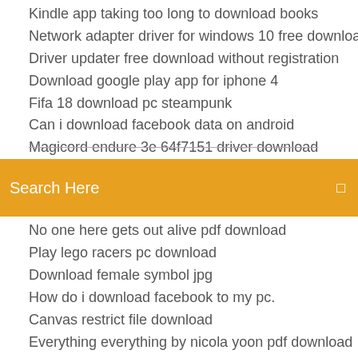Kindle app taking too long to download books
Network adapter driver for windows 10 free download
Driver updater free download without registration
Download google play app for iphone 4
Fifa 18 download pc steampunk
Can i download facebook data on android
Magicord endure 3e 64f7151 driver download
[Figure (screenshot): Orange search bar with white text 'Search Here' and a square icon on the right]
No one here gets out alive pdf download
Play lego racers pc download
Download female symbol jpg
How do i download facebook to my pc.
Canvas restrict file download
Everything everything by nicola yoon pdf download
Fire pro wrestling world caw downloads pc
Download driver for kip 770
Download and install old version of amazon flex
Serial port driver for windows 7 download